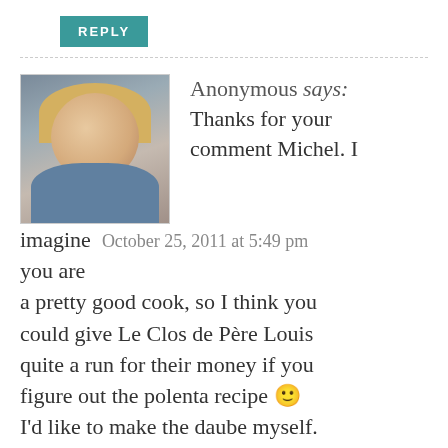REPLY
Anonymous says: Thanks for your comment Michel. I imagine  October 25, 2011 at 5:49 pm  you are a pretty good cook, so I think you could give Le Clos de Père Louis quite a run for their money if you figure out the polenta recipe 🙂 I'd like to make the daube myself. My all-time favorite French food is Boeuf Bourguignon, so I figure that's as close as we can get in the South!